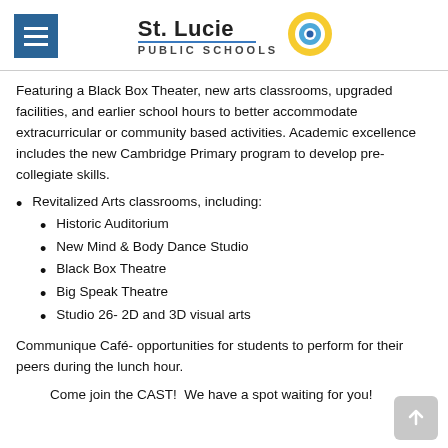St. Lucie PUBLIC SCHOOLS
Featuring a Black Box Theater, new arts classrooms, upgraded facilities, and earlier school hours to better accommodate extracurricular or community based activities. Academic excellence includes the new Cambridge Primary program to develop pre-collegiate skills.
Revitalized Arts classrooms, including:
Historic Auditorium
New Mind & Body Dance Studio
Black Box Theatre
Big Speak Theatre
Studio 26- 2D and 3D visual arts
Communique Café- opportunities for students to perform for their peers during the lunch hour.
Come join the CAST!  We have a spot waiting for you!